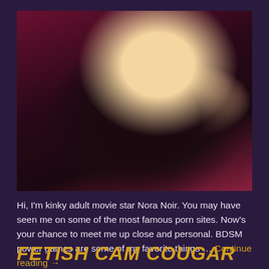[Figure (photo): Blonde woman in black leather outfit posing on a red/maroon background]
Hi, I'm kinky adult movie star Nora Noir. You may have seen me on some of the most famous porn sites. Now's your chance to meet me up close and personal. BDSM power games are some of my favorite things … Continue reading →
FETISH CAM COUGAR